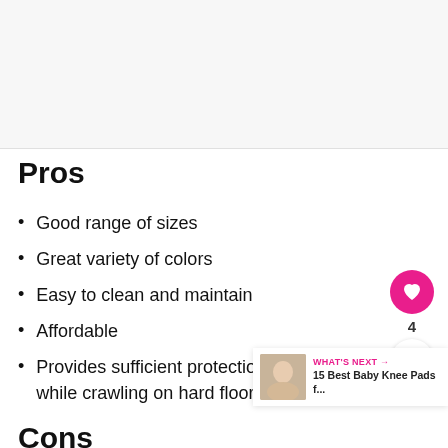[Figure (photo): Image placeholder area at top of page, light gray background]
Pros
Good range of sizes
Great variety of colors
Easy to clean and maintain
Affordable
Provides sufficient protection for your baby while crawling on hard floors.
Cons